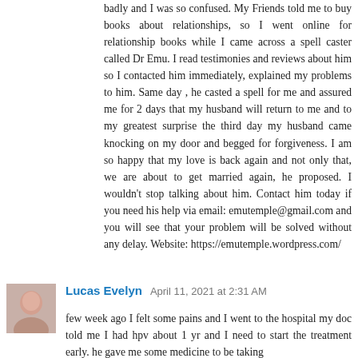badly and I was so confused. My Friends told me to buy books about relationships, so I went online for relationship books while I came across a spell caster called Dr Emu. I read testimonies and reviews about him so I contacted him immediately, explained my problems to him. Same day , he casted a spell for me and assured me for 2 days that my husband will return to me and to my greatest surprise the third day my husband came knocking on my door and begged for forgiveness. I am so happy that my love is back again and not only that, we are about to get married again, he proposed. I wouldn't stop talking about him. Contact him today if you need his help via email: emutemple@gmail.com and you will see that your problem will be solved without any delay. Website: https://emutemple.wordpress.com/
Reply
Lucas Evelyn  April 11, 2021 at 2:31 AM
few week ago I felt some pains and I went to the hospital my doc told me I had hpv about 1 yr and I need to start the treatment early. he gave me some medicine to be taking